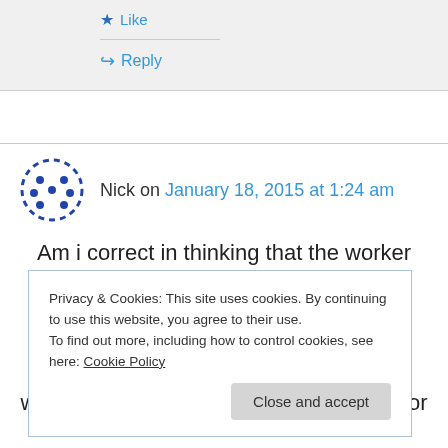★ Like
↪ Reply
Nick on January 18, 2015 at 1:24 am
Am i correct in thinking that the worker process
Privacy & Cookies: This site uses cookies. By continuing to use this website, you agree to their use.
To find out more, including how to control cookies, see here: Cookie Policy
Close and accept
worker process, is there an easier way for me to